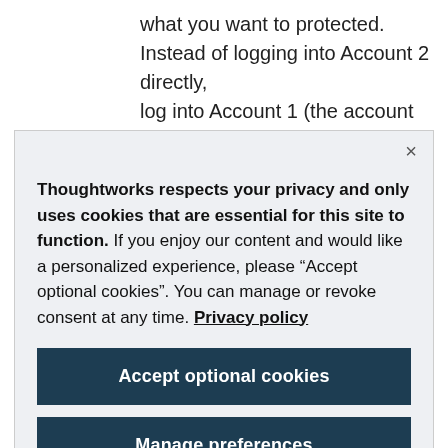what you want to protected. Instead of logging into Account 2 directly, log into Account 1 (the account holding your user and group information) and
Thoughtworks respects your privacy and only uses cookies that are essential for this site to function. If you enjoy our content and would like a personalized experience, please “Accept optional cookies”. You can manage or revoke consent at any time. Privacy policy
Accept optional cookies
Manage preferences